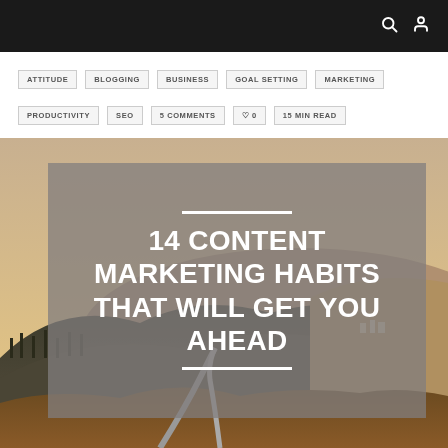navigation header with search and user icons
ATTITUDE
BLOGGING
BUSINESS
GOAL SETTING
MARKETING
PRODUCTIVITY
SEO
5 COMMENTS
♡ 0
15 MIN READ
[Figure (photo): Landscape photo of rolling hills with a road winding through autumn/winter scenery at golden hour, with an overlay panel showing the article title]
14 CONTENT MARKETING HABITS THAT WILL GET YOU AHEAD